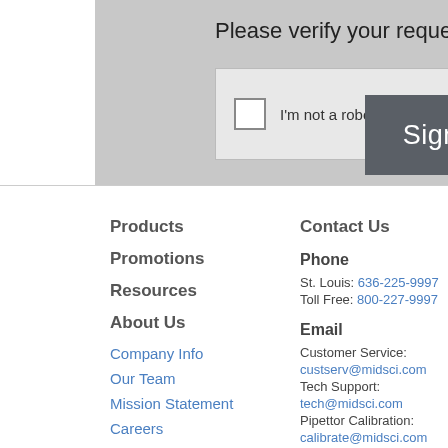Please verify your request*
[Figure (screenshot): reCAPTCHA widget with checkbox labeled I'm not a robot]
[Figure (screenshot): Sign Up button overlay in dark gray]
Products
Promotions
Resources
About Us
Company Info
Our Team
Mission Statement
Careers
Testimonials
Sitemap
Contact Us
Phone
St. Louis: 636-225-9997
Toll Free: 800-227-9997
Email
Customer Service:
custserv@midsci.com
Tech Support:
tech@midsci.com
Pipettor Calibration:
calibrate@midsci.com